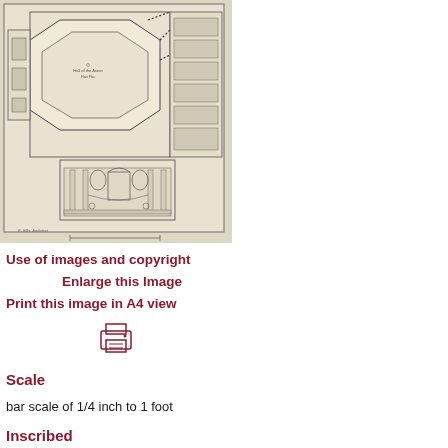[Figure (engineering-diagram): Architectural floor plan drawing showing a building layout with a central octagonal or polygonal hall, flanking rooms, cross-section details on the right, and a decorative facade elevation at the bottom. Drawn on aged cream/beige paper.]
Use of images and copyright
Enlarge this Image
Print this image in A4 view
[Figure (illustration): Printer icon in dark red/maroon outline style]
Scale
bar scale of 1/4 inch to 1 foot
Inscribed